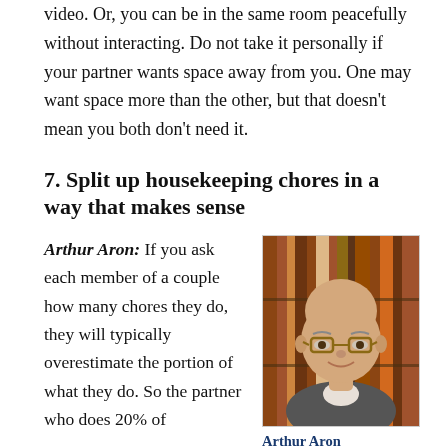video. Or, you can be in the same room peacefully without interacting. Do not take it personally if your partner wants space away from you. One may want space more than the other, but that doesn't mean you both don't need it.
7. Split up housekeeping chores in a way that makes sense
Arthur Aron: If you ask each member of a couple how many chores they do, they will typically overestimate the portion of what they do. So the partner who does 20% of
[Figure (photo): Headshot of Arthur Aron, an older bald man with glasses, wearing a grey sweater, with bookshelves in the background]
Arthur Aron